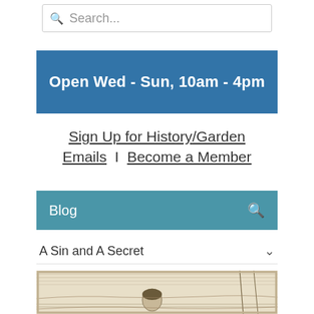Search...
Open Wed - Sun, 10am - 4pm
Sign Up for History/Garden Emails  |  Become a Member
Blog
A Sin and A Secret
[Figure (illustration): A pencil or etching illustration depicting a figure outdoors in a landscape with trees and sky.]